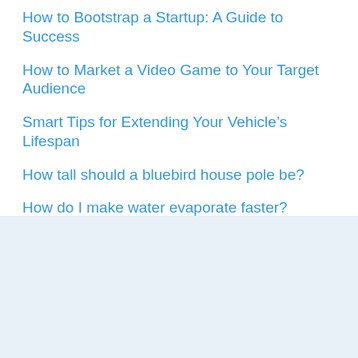How to Bootstrap a Startup: A Guide to Success
How to Market a Video Game to Your Target Audience
Smart Tips for Extending Your Vehicle's Lifespan
How tall should a bluebird house pole be?
How do I make water evaporate faster?